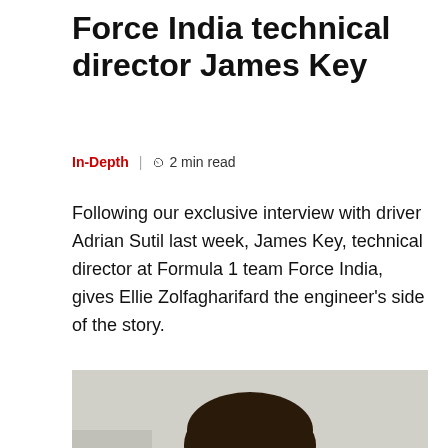Force India technical director James Key
In-Depth | 2 min read
Following our exclusive interview with driver Adrian Sutil last week, James Key, technical director at Formula 1 team Force India, gives Ellie Zolfagharifard the engineer's side of the story.
[Figure (photo): Portrait photo of James Key, a young man with dark hair, wearing a dark jacket, photographed against a light background.]